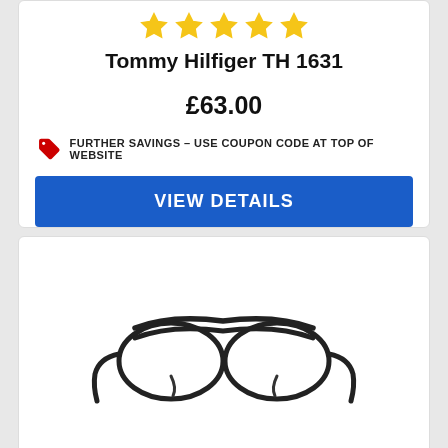[Figure (other): Five gold star rating icons in a row]
Tommy Hilfiger TH 1631
£63.00
FURTHER SAVINGS – USE COUPON CODE AT TOP OF WEBSITE
VIEW DETAILS
[Figure (photo): Black metal aviator-style eyeglasses with double bridge, photographed at an angle on white background]